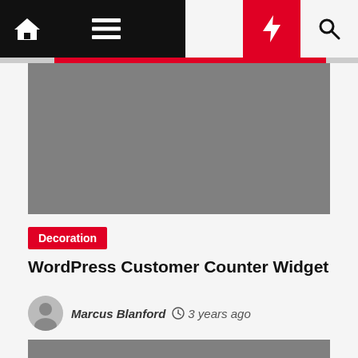Navigation bar with home, menu, moon, bolt, and search icons
[Figure (photo): Gray placeholder image rectangle at top of article card]
Decoration
WordPress Customer Counter Widget
Marcus Blanford  3 years ago
[Figure (photo): Gray placeholder image strip at bottom of page]